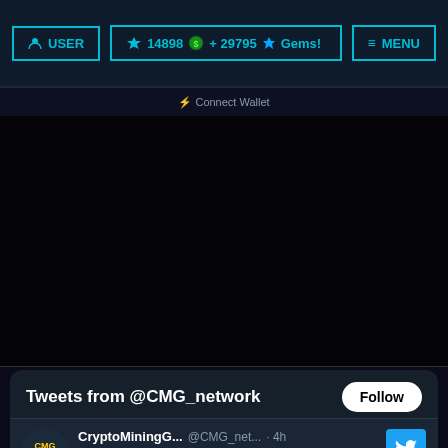USER  14898 + 29795 Gems!  MENU
⚡ Connect Wallet
[Figure (screenshot): Black empty main content area of a cryptocurrency gaming website]
Tweets from @CMG_network  Follow
CryptoMiningG...  @CMG_net...  · 4h  ⚔***CMW - End of Season 34***⚔ - Hey CMG players! Crypto Mining War